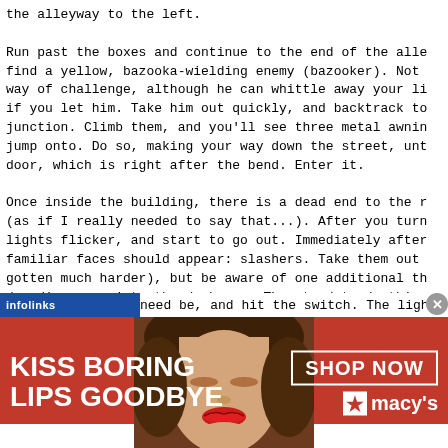the alleyway to the left.
Run past the boxes and continue to the end of the alle find a yellow, bazooka-wielding enemy (bazooker). Not way of challenge, although he can whittle away your li if you let him. Take him out quickly, and backtrack to junction. Climb them, and you'll see three metal awnin jump onto. Do so, making your way down the street, unt door, which is right after the bend. Enter it.
Once inside the building, there is a dead end to the r (as if I really needed to say that...). After you turn lights flicker, and start to go out. Immediately after familiar faces should appear: slashers. Take them out gotten much harder), but be aware of one additional th do: disappear into the darkness. They tend to do this as you'll see later - once you've spotted them, they s turn the corner, where you'll run into another slasher Kill them, grab their Images (you have been keeping up BJLevels, haven't you?), and head into the next room.
The next room will contain a partial-life capsule and need be, and hit the switch. The lights will fl
[Figure (infographic): Macy's advertisement banner with red background showing 'KISS BORING LIPS GOODBYE' text on the left, a photo of a woman with red lipstick in the center, and 'SHOP NOW / star macys' on the right. An infolinks bar is at the top left, and a close button is at the top right.]